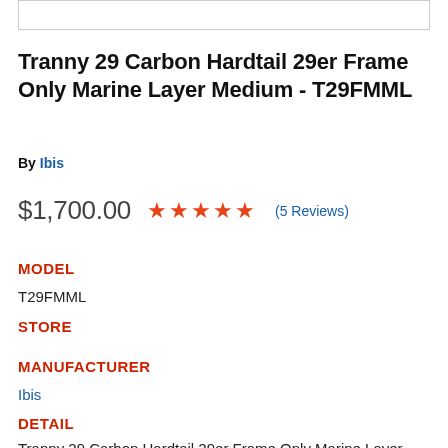[Figure (photo): Product image placeholder (partially visible at top of page)]
Tranny 29 Carbon Hardtail 29er Frame Only Marine Layer Medium - T29FMML
By Ibis
$1,700.00  ★★★★★ (5 Reviews)
MODEL
T29FMML
STORE
MANUFACTURER
Ibis
DETAIL
Tranny 29 Carbon Hardtail 29er Frame Only Marine Layer